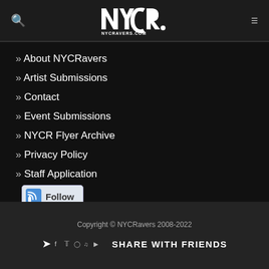NYCR NYCRAVERS.COM
» About NYCRavers
» Artist Submissions
» Contact
» Event Submissions
» NYCR Flyer Archive
» Privacy Policy
» Staff Application
[Figure (other): RSS Follow button]
Copyright © NYCRavers 2008-2022
SHARE WITH FRIENDS